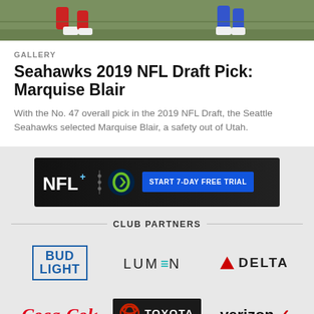[Figure (photo): Top portion of a sports/football field photo showing players' legs and feet on grass]
GALLERY
Seahawks 2019 NFL Draft Pick: Marquise Blair
With the No. 47 overall pick in the 2019 NFL Draft, the Seattle Seahawks selected Marquise Blair, a safety out of Utah.
[Figure (screenshot): NFL+ advertisement banner with Seahawks logo and 'START 7-DAY FREE TRIAL' button]
CLUB PARTNERS
[Figure (logo): Bud Light logo in blue box]
[Figure (logo): Lumen logo]
[Figure (logo): Delta logo with red triangle]
[Figure (logo): Coca-Cola logo in red script]
[Figure (logo): Toyota logo with black background]
[Figure (logo): Verizon logo with red checkmark]